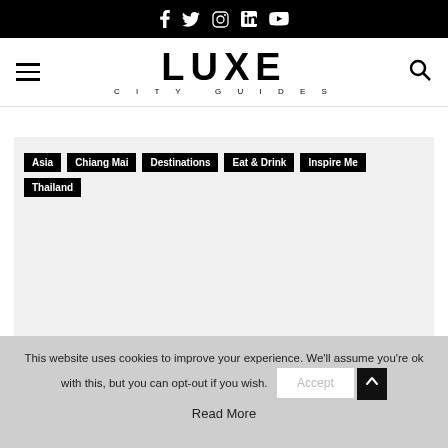Social icons bar (Facebook, Twitter, Instagram, LinkedIn, YouTube)
LUXE CITY GUIDES
Asia
Chiang Mai
Destinations
Eat & Drink
Inspire Me
Thailand
This website uses cookies to improve your experience. We'll assume you're ok with this, but you can opt-out if you wish. Accept Read More